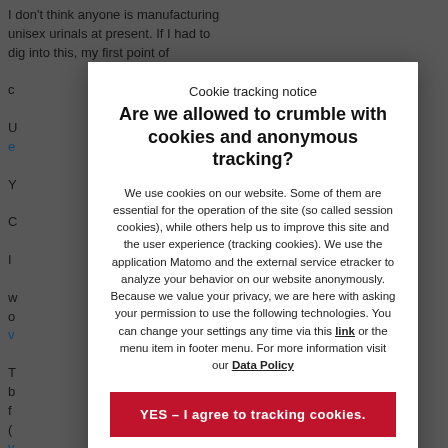I don't think anyone is manufacturing unisex urinals at present. If I had to dig into this, my first point of...
Cookie tracking notice
Are we allowed to crumble with cookies and anonymous tracking?
We use cookies on our website. Some of them are essential for the operation of the site (so called session cookies), while others help us to improve this site and the user experience (tracking cookies). We use the application Matomo and the external service etracker to analyze your behavior on our website anonymously. Because we value your privacy, we are here with asking your permission to use the following technologies. You can change your settings any time via this link or the menu item in footer menu. For more information visit our Data Policy
YES – I agree to tracking cookies.
No thanks – I agree to session cookies